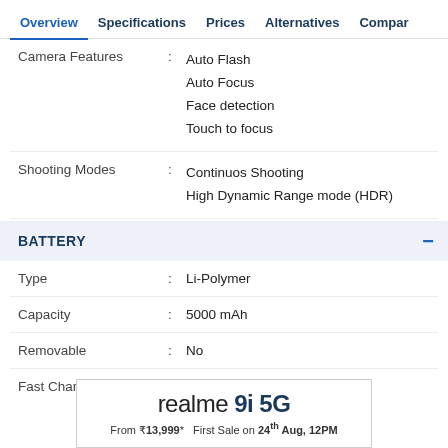Overview  Specifications  Prices  Alternatives  Compar
| Feature |  | Value |
| --- | --- | --- |
| Camera Features | : | Auto Flash
Auto Focus
Face detection
Touch to focus |
| Shooting Modes | : | Continuos Shooting
High Dynamic Range mode (HDR) |
BATTERY
| Feature |  | Value |
| --- | --- | --- |
| Type | : | Li-Polymer |
| Capacity | : | 5000 mAh |
| Removable | : | No |
| Fast Charging | : | Yes, 33W |
[Figure (infographic): realme 9i 5G advertisement banner. Text: 'realme 9i 5G From ₹13,999* First Sale on 24th Aug, 12PM']